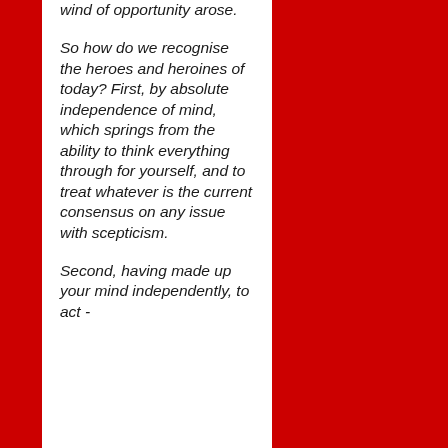wind of opportunity arose.

So how do we recognise the heroes and heroines of today? First, by absolute independence of mind, which springs from the ability to think everything through for yourself, and to treat whatever is the current consensus on any issue with scepticism.

Second, having made up your mind independently, to act - consistently and